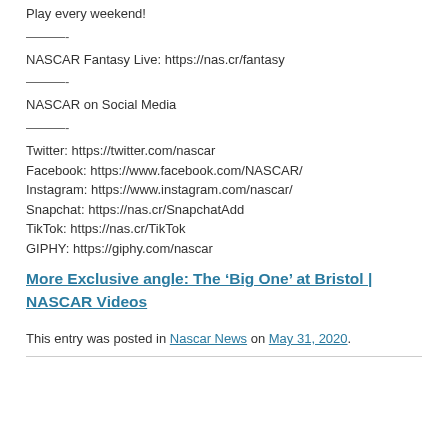Play every weekend!
———-
NASCAR Fantasy Live: https://nas.cr/fantasy
———-
NASCAR on Social Media
———-
Twitter: https://twitter.com/nascar
Facebook: https://www.facebook.com/NASCAR/
Instagram: https://www.instagram.com/nascar/
Snapchat: https://nas.cr/SnapchatAdd
TikTok: https://nas.cr/TikTok
GIPHY: https://giphy.com/nascar
More Exclusive angle: The ‘Big One’ at Bristol | NASCAR Videos
This entry was posted in Nascar News on May 31, 2020.